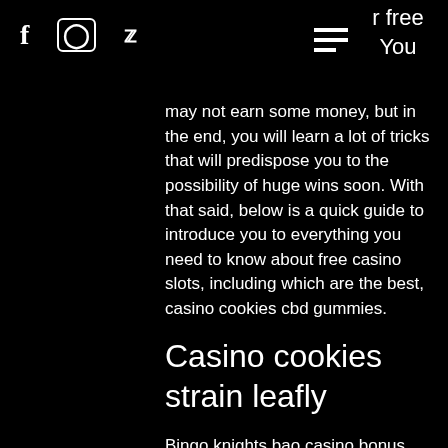r free You
may not earn some money, but in the end, you will learn a lot of tricks that will predispose you to the possibility of huge wins soon. With that said, below is a quick guide to introduce you to everything you need to know about free casino slots, including which are the best, casino cookies cbd gummies.
Casino cookies strain leafly
Bingo knights bao casino bonus, casino cookies cbd gummies.
They have over 1,400 slot machines. That should be enough to keep you occupied for a little while, casino cookies strain leafly. Blackjack is another one of those classic casino games that you can play on pretty